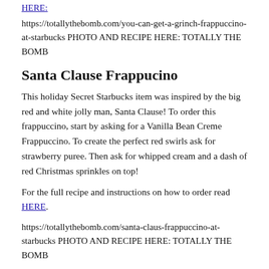HERE:
https://totallythebomb.com/you-can-get-a-grinch-frappuccino-at-starbucks PHOTO AND RECIPE HERE: TOTALLY THE BOMB
Santa Clause Frappucino
This holiday Secret Starbucks item was inspired by the big red and white jolly man, Santa Clause! To order this frappuccino, start by asking for a Vanilla Bean Creme Frappuccino. To create the perfect red swirls ask for strawberry puree. Then ask for whipped cream and a dash of red Christmas sprinkles on top!
For the full recipe and instructions on how to order read HERE.
https://totallythebomb.com/santa-claus-frappuccino-at-starbucks PHOTO AND RECIPE HERE: TOTALLY THE BOMB
Rudolph The Red Nose Reindeer Frappuccino